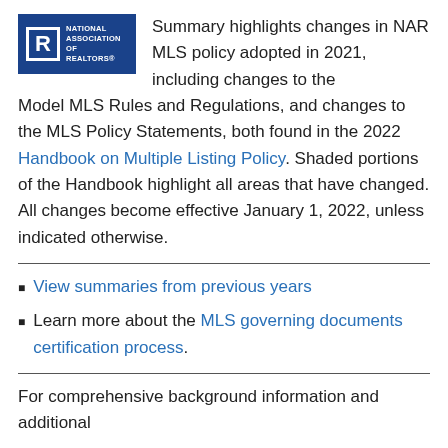[Figure (logo): National Association of REALTORS® logo — white R icon in dark blue rectangle with white text]
Summary highlights changes in NAR MLS policy adopted in 2021, including changes to the Model MLS Rules and Regulations, and changes to the MLS Policy Statements, both found in the 2022 Handbook on Multiple Listing Policy. Shaded portions of the Handbook highlight all areas that have changed. All changes become effective January 1, 2022, unless indicated otherwise.
View summaries from previous years
Learn more about the MLS governing documents certification process.
For comprehensive background information and additional